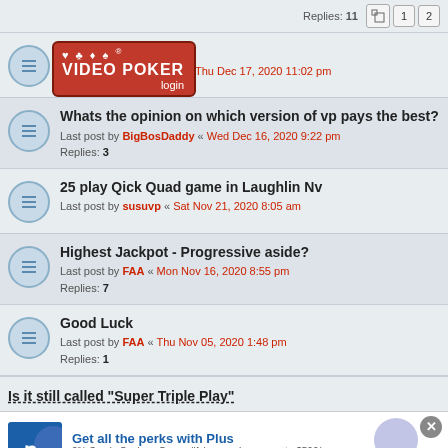Replies: 11 [page 1] [page 2]
changing pay tables
Last post by Minnesota3 « Thu Dec 17, 2020 11:02 pm
[Figure (logo): Video Poker forum logo overlay with suit symbols and red badge]
Whats the opinion on which version of vp pays the best?
Last post by BigBosDaddy « Wed Dec 16, 2020 9:22 pm
Replies: 3
25 play Qick Quad game in Laughlin Nv
Last post by susuvp « Sat Nov 21, 2020 8:05 am
Highest Jackpot - Progressive aside?
Last post by FAA « Mon Nov 16, 2020 8:55 pm
Replies: 7
Good Luck
Last post by FAA « Thu Nov 05, 2020 1:48 pm
Replies: 1
Is it still called "Super Triple Play"
[Figure (infographic): Sam's Club advertisement: Get all the perks with Plus. 2% Sam's Cash. On qualifying purchases, up to $500/year.]
This site uses cookies for personalized content and analytics. By continuing to use this site, you agree to this use. [Close button]